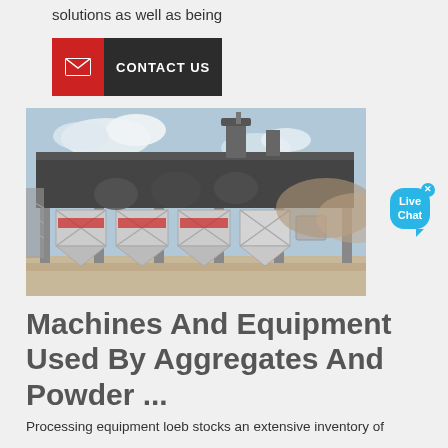solutions as well as being
[Figure (other): Contact Us button with red mail icon on left and dark grey label on right]
[Figure (photo): Industrial aggregate/powder processing facility with large steel roof structure supported by pillars, multiple hopper/bin units underneath, outdoor industrial setting]
[Figure (other): Live Chat speech bubble widget in blue with close X button]
Machines And Equipment Used By Aggregates And Powder ...
Processing equipment loeb stocks an extensive inventory of